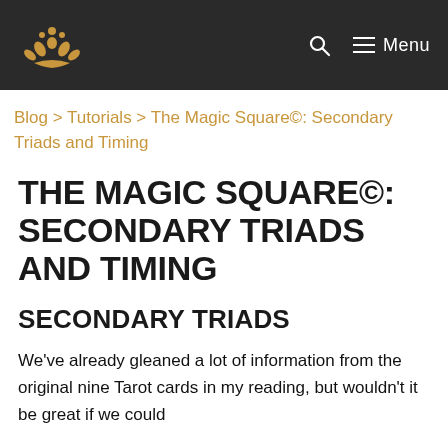Menu
Blog > Tutorials > The Magic Square©: Secondary Triads and Timing
THE MAGIC SQUARE©: SECONDARY TRIADS AND TIMING
SECONDARY TRIADS
We've already gleaned a lot of information from the original nine Tarot cards in my reading, but wouldn't it be great if we could